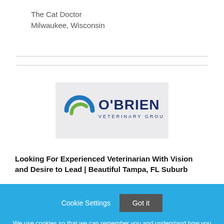The Cat Doctor
Milwaukee, Wisconsin
[Figure (logo): O'Brien Veterinary Group logo with circular blue and green swirl icon and navy text]
Looking For Experienced Veterinarian With Vision and Desire to Lead | Beautiful Tampa, FL Suburb
Cookie Settings   Got it

We use cookies so that we can remember you and understand how you use our site. If you do not agree with our use of cookies, please change the current settings found in our Cookie Policy. Otherwise, you agree to the use of the cookies as they are currently set.